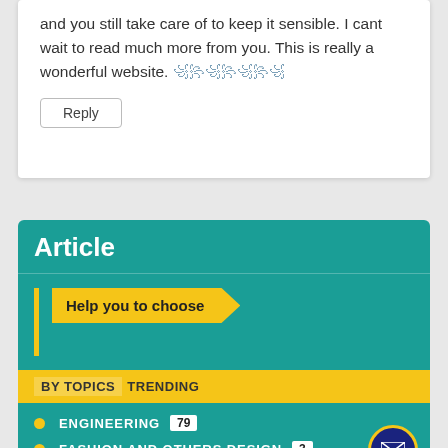and you still take care of to keep it sensible. I cant wait to read much more from you. This is really a wonderful website. ꧁꧂꧁꧂꧁꧂꧁
Reply
Article
Help you to choose
BY TOPICS  TRENDING
ENGINEERING 79
FASHION AND OTHERS DESIGN 3